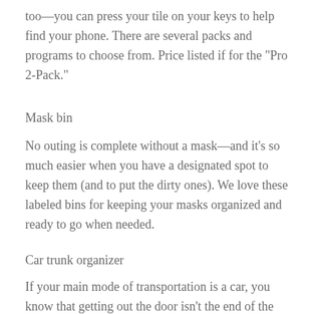too—you can press your tile on your keys to help find your phone. There are several packs and programs to choose from. Price listed if for the "Pro 2-Pack."
Mask bin
No outing is complete without a mask—and it's so much easier when you have a designated spot to keep them (and to put the dirty ones). We love these labeled bins for keeping your masks organized and ready to go when needed.
Car trunk organizer
If your main mode of transportation is a car, you know that getting out the door isn't the end of the journey—you still need to get everyone organized in the car. I've found that having a spot to keep